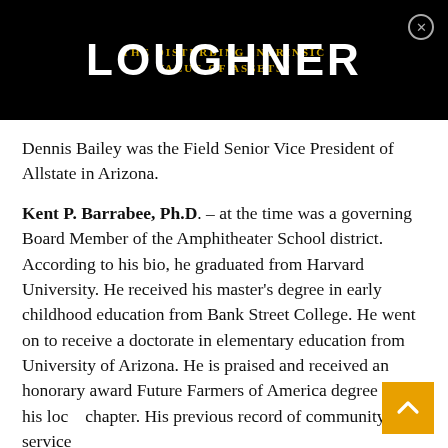THE DISTURBING INTRINSIC VALUE OF ASSETS? LOUGHNER
Dennis Bailey was the Field Senior Vice President of Allstate in Arizona.
Kent P. Barrabee, Ph.D. – at the time was a governing Board Member of the Amphitheater School district. According to his bio, he graduated from Harvard University. He received his master's degree in early childhood education from Bank Street College. He went on to receive a doctorate in elementary education from University of Arizona. He is praised and received an honorary award Future Farmers of America degree from his local chapter. His previous record of community service